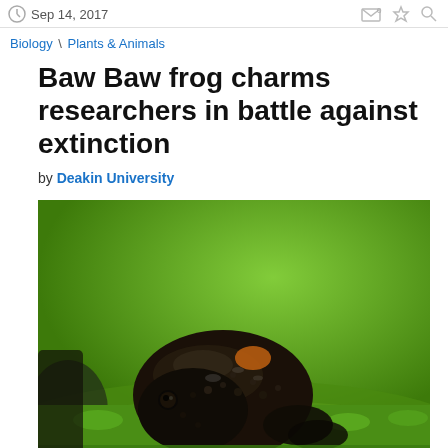Sep 14, 2017
Biology \ Plants & Animals
Baw Baw frog charms researchers in battle against extinction
by Deakin University
[Figure (photo): Close-up photograph of a dark brown/black Baw Baw frog sitting on bright green moss. The frog has a wet, bumpy skin texture and is photographed against a blurred green background.]